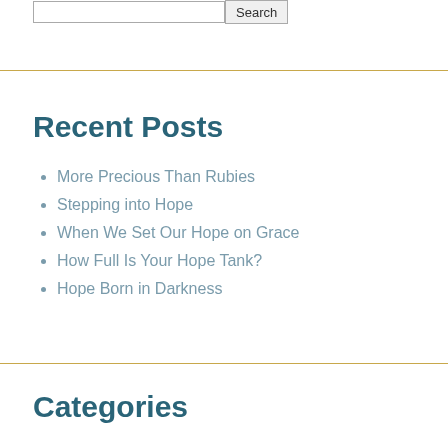Recent Posts
More Precious Than Rubies
Stepping into Hope
When We Set Our Hope on Grace
How Full Is Your Hope Tank?
Hope Born in Darkness
Categories